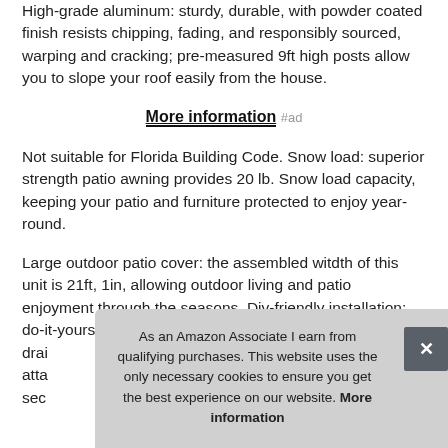High-grade aluminum: sturdy, durable, with powder coated finish resists chipping, fading, and responsibly sourced, warping and cracking; pre-measured 9ft high posts allow you to slope your roof easily from the house.
More information #ad
Not suitable for Florida Building Code. Snow load: superior strength patio awning provides 20 lb. Snow load capacity, keeping your patio and furniture protected to enjoy year-round.
Large outdoor patio cover: the assembled witdth of this unit is 21ft, 1in, allowing outdoor living and patio enjoyment through the seasons. Div-friendly installation: do-it-yourself lock-tight roof drainage attaching sec
As an Amazon Associate I earn from qualifying purchases. This website uses the only necessary cookies to ensure you get the best experience on our website. More information